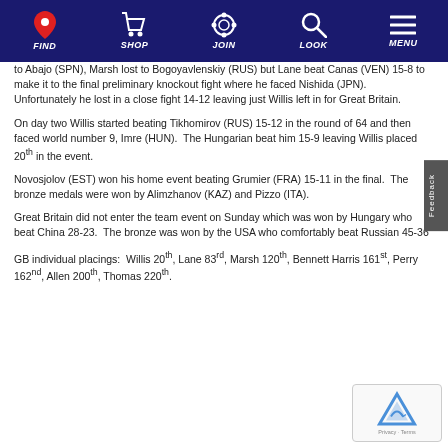FIND | SHOP | JOIN | LOOK | MENU
to Abajo (SPN), Marsh lost to Bogoyavlenskiy (RUS) but Lane beat Canas (VEN) 15-8 to make it to the final preliminary knockout fight where he faced Nishida (JPN).  Unfortunately he lost in a close fight 14-12 leaving just Willis left in for Great Britain.
On day two Willis started beating Tikhomirov (RUS) 15-12 in the round of 64 and then faced world number 9, Imre (HUN).  The Hungarian beat him 15-9 leaving Willis placed 20th in the event.
Novosjolov (EST) won his home event beating Grumier (FRA) 15-11 in the final.  The bronze medals were won by Alimzhanov (KAZ) and Pizzo (ITA).
Great Britain did not enter the team event on Sunday which was won by Hungary who beat China 28-23.  The bronze was won by the USA who comfortably beat Russian 45-36
GB individual placings:  Willis 20th, Lane 83rd, Marsh 120th, Bennett Harris 161st, Perry 162nd, Allen 200th, Thomas 220th.